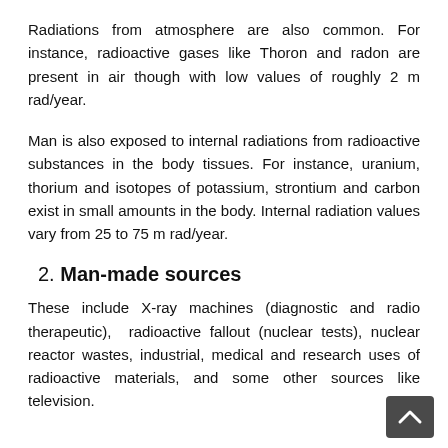Radiations from atmosphere are also common. For instance, radioactive gases like Thoron and radon are present in air though with low values of roughly 2 m rad/year.
Man is also exposed to internal radiations from radioactive substances in the body tissues. For instance, uranium, thorium and isotopes of potassium, strontium and carbon exist in small amounts in the body. Internal radiation values vary from 25 to 75 m rad/year.
2. Man-made sources
These include X-ray machines (diagnostic and radio therapeutic), radioactive fallout (nuclear tests), nuclear reactor wastes, industrial, medical and research uses of radioactive materials, and some other sources like television.